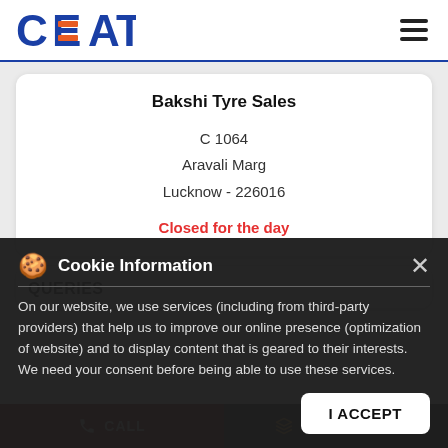CEAT
Bakshi Tyre Sales
C 1064
Aravali Marg
Lucknow - 226016
Closed for the day
QUERIES
Cookie Information
On our website, we use services (including from third-party providers) that help us to improve our online presence (optimization of website) and to display content that is geared to their interests. We need your consent before being able to use these services.
CALL   DIRECTIONS